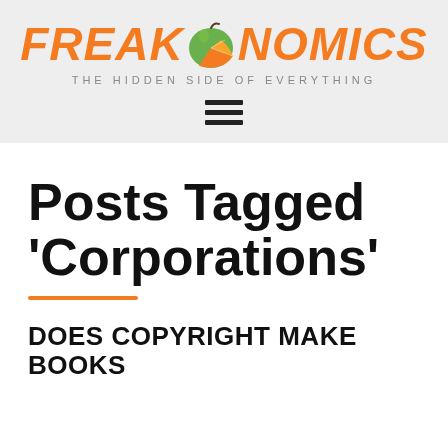[Figure (logo): Freakonomics logo with orange apple fruit graphic, tagline 'THE HIDDEN SIDE OF EVERYTHING', and hamburger menu icon]
Posts Tagged 'Corporations'
DOES COPYRIGHT MAKE BOOKS